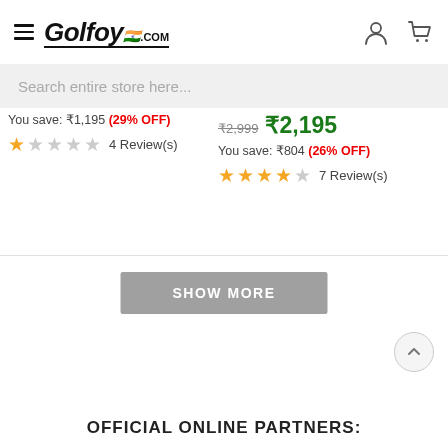Golfoy.com
Search entire store here...
You save: ₹1,195 (29% OFF) — 4 Review(s)
₹2,999 ₹2,195 You save: ₹804 (26% OFF) — 7 Review(s)
SHOW MORE
OFFICIAL ONLINE PARTNERS: